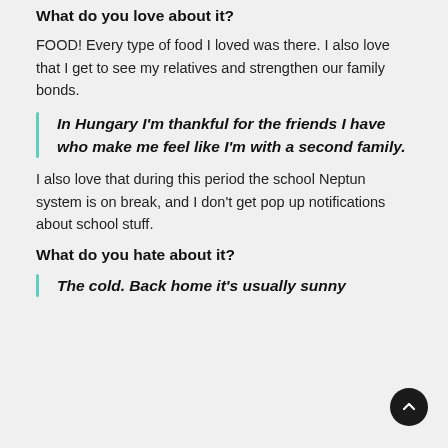What do you love about it?
FOOD! Every type of food I loved was there. I also love that I get to see my relatives and strengthen our family bonds.
In Hungary I'm thankful for the friends I have who make me feel like I'm with a second family.
I also love that during this period the school Neptun system is on break, and I don't get pop up notifications about school stuff.
What do you hate about it?
The cold. Back home it's usually sunny